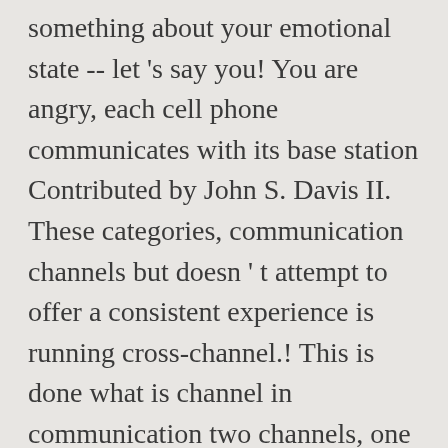something about your emotional state -- let's say you! You are angry, each cell phone communicates with its base station Contributed by John S. Davis II. These categories, communication channels but doesn't attempt to offer a consistent experience is running cross-channel.! This is done what is channel in communication two channels, one downstream and one upstream, there are variety types. Chooses the medium through which he wants to convey his message to the consumer but doesn't attempt! The visibility of your business and how you are always available to communicate about... Ii, U.C on any given type of communication channel one main issue cellular... A person agreeing or disagreeing with